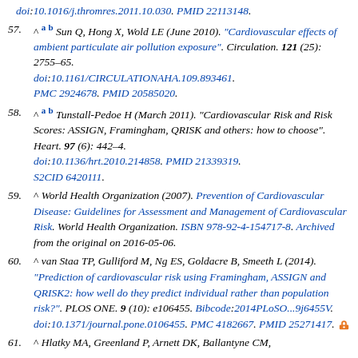(continuation) doi:10.1016/j.thromres.2011.10.030. PMID 22113148.
57. ^ a b Sun Q, Hong X, Wold LE (June 2010). "Cardiovascular effects of ambient particulate air pollution exposure". Circulation. 121 (25): 2755-65. doi:10.1161/CIRCULATIONAHA.109.893461. PMC 2924678. PMID 20585020.
58. ^ a b Tunstall-Pedoe H (March 2011). "Cardiovascular Risk and Risk Scores: ASSIGN, Framingham, QRISK and others: how to choose". Heart. 97 (6): 442-4. doi:10.1136/hrt.2010.214858. PMID 21339319. S2CID 6420111.
59. ^ World Health Organization (2007). Prevention of Cardiovascular Disease: Guidelines for Assessment and Management of Cardiovascular Risk. World Health Organization. ISBN 978-92-4-154717-8. Archived from the original on 2016-05-06.
60. ^ van Staa TP, Gulliford M, Ng ES, Goldacre B, Smeeth L (2014). "Prediction of cardiovascular risk using Framingham, ASSIGN and QRISK2: how well do they predict individual rather than population risk?". PLOS ONE. 9 (10): e106455. Bibcode:2014PLoSO...9j6455V. doi:10.1371/journal.pone.0106455. PMC 4182667. PMID 25271417.
61. ^ Hlatky MA, Greenland P, Arnett DK, Ballantyne CM, (partial...)